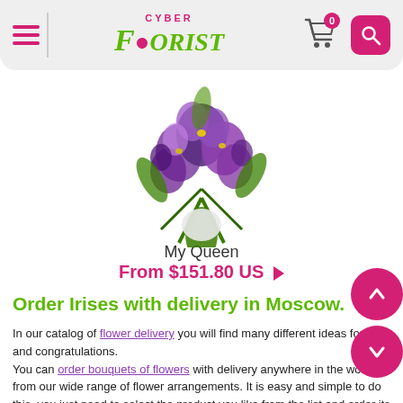Cyber Florist — navigation bar with hamburger menu, logo, cart (0 items), and search button
[Figure (photo): Purple/violet iris flower bouquet with greenery, viewed from above, partially cropped at top]
My Queen
From $151.80 US ▶
Order Irises with delivery in Moscow.
In our catalog of flower delivery you will find many different ideas for gifts and congratulations.
You can order bouquets of flowers with delivery anywhere in the world from our wide range of flower arrangements. It is easy and simple to do this, you just need to select the product you like from the list and order its delivery online. In order to make it easier to choose from our entire assortment, we have divided the catalog into sections according to the types of colors.
This section of the catalog contains bouquets containing iris flowers